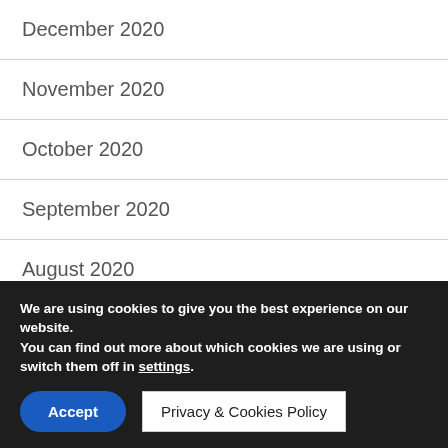December 2020
November 2020
October 2020
September 2020
August 2020
July 2020
June 2020
We are using cookies to give you the best experience on our website.
You can find out more about which cookies we are using or switch them off in settings.
Accept
Privacy & Cookies Policy